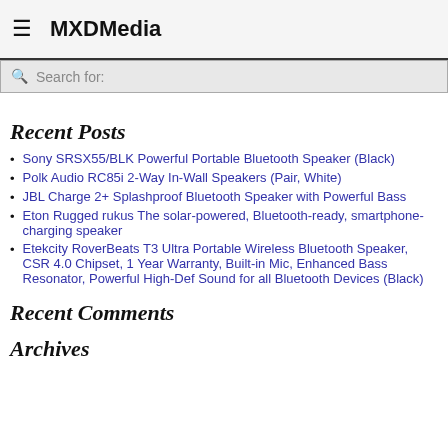MXDMedia
Search for:
Recent Posts
Sony SRSX55/BLK Powerful Portable Bluetooth Speaker (Black)
Polk Audio RC85i 2-Way In-Wall Speakers (Pair, White)
JBL Charge 2+ Splashproof Bluetooth Speaker with Powerful Bass
Eton Rugged rukus The solar-powered, Bluetooth-ready, smartphone-charging speaker
Etekcity RoverBeats T3 Ultra Portable Wireless Bluetooth Speaker, CSR 4.0 Chipset, 1 Year Warranty, Built-in Mic, Enhanced Bass Resonator, Powerful High-Def Sound for all Bluetooth Devices (Black)
Recent Comments
Archives